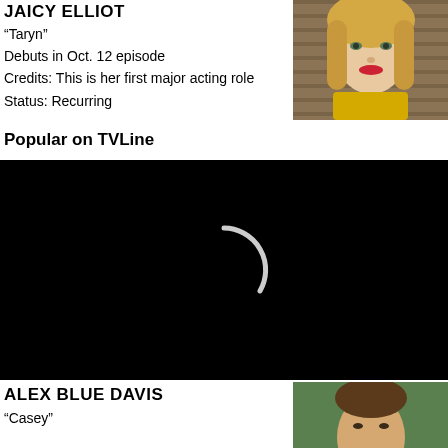JAICY ELLIOT
“Taryn”
Debuts in Oct. 12 episode
Credits: This is her first major acting role
Status: Recurring
Popular on TVLine
[Figure (photo): Black video player area with loading spinner icon]
ALEX BLUE DAVIS
“Casey”
[Figure (photo): Headshot of a young blonde woman with red lipstick against a wooden background]
[Figure (photo): Headshot of a young man with brown hair against a green background]